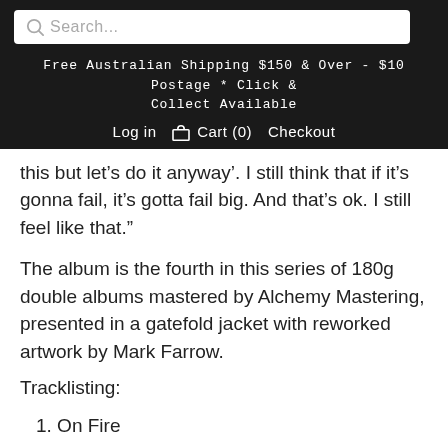Search... | Free Australian Shipping $150 & Over - $10 Postage * Click & Collect Available | Log in Cart (0) Checkout
this but let’s do it anyway’. I still think that if it’s gonna fail, it’s gotta fail big. And that’s ok. I still feel like that.”
The album is the fourth in this series of 180g double albums mastered by Alchemy Mastering, presented in a gatefold jacket with reworked artwork by Mark Farrow.
Tracklisting:
1. On Fire
2. Do It All Over Again
3. Don’t Just Do Something...